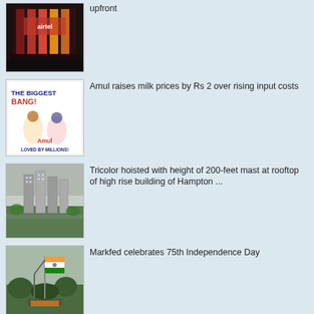[Figure (photo): Airtel building with illuminated red signage at night]
upfront
[Figure (photo): Amul advertisement poster: THE BIGGEST BANG! with cartoon characters and text LOVED BY MILLIONS!]
Amul raises milk prices by Rs 2 over rising input costs
[Figure (photo): Aerial view of Hampton high rise residential buildings]
Tricolor hoisted with height of 200-feet mast at rooftop of high rise building of Hampton ...
[Figure (photo): Markfed Independence Day celebration with flag hoisting]
Markfed celebrates 75th Independence Day